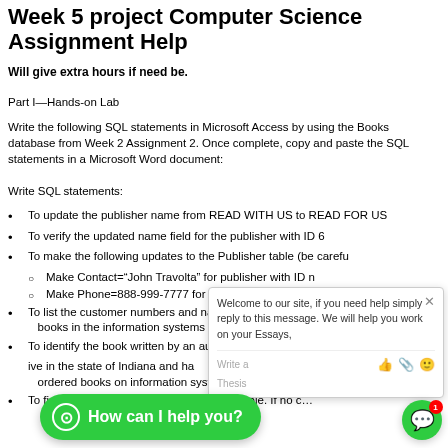Week 5 project Computer Science Assignment Help
Will give extra hours if need be.
Part I—Hands-on Lab
Write the following SQL statements in Microsoft Access by using the Books database from Week 2 Assignment 2. Once complete, copy and paste the SQL statements in a Microsoft Word document:
Write SQL statements:
To update the publisher name from READ WITH US to READ FOR US
To verify the updated name field for the publisher with ID 6
To make the following updates to the Publisher table (be careful…
Make Contact="John Travolta" for publisher with ID n…
Make Phone=888-999-7777 for TEXT AND MORE
To list the customer numbers and names of all individuals who … books in the information systems category
To identify the book written by an author with the last name Ca…
…ive in the state of Indiana and h… ordered books on information systems
To find a list of all the books in the Books table. If no c… ordered…